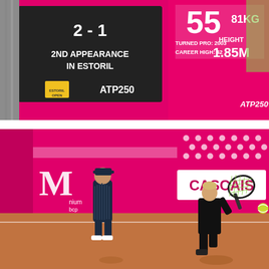[Figure (photo): Tennis tournament scoreboard at Estoril Open ATP250 showing '2-1', '2nd appearance in Estoril', player stats: Turned Pro 2003, Career High 42, 81kg weight, 1.85m height. Pink background with tournament branding.]
[Figure (photo): Tennis player in black outfit hitting a forehand shot on clay court at Estoril Open. Pink sponsor boards visible including 'CASCAIS', 'M', 'Sacoor brothers', 'millenniumbcp'. A person in dark outfit stands in background.]